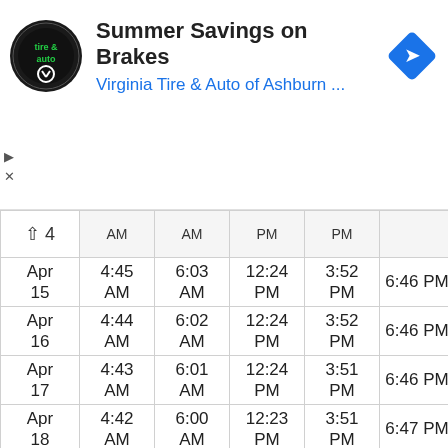[Figure (screenshot): Advertisement banner for Virginia Tire & Auto of Ashburn - Summer Savings on Brakes]
| ↑ 4 | AM | AM | PM | PM |  |
| --- | --- | --- | --- | --- | --- |
| Apr
15 | 4:45
AM | 6:03
AM | 12:24
PM | 3:52
PM | 6:46 PM |
| Apr
16 | 4:44
AM | 6:02
AM | 12:24
PM | 3:52
PM | 6:46 PM |
| Apr
17 | 4:43
AM | 6:01
AM | 12:24
PM | 3:51
PM | 6:46 PM |
| Apr
18 | 4:42
AM | 6:00
AM | 12:23
PM | 3:51
PM | 6:47 PM |
| Apr
19 | 4:41
AM | 5:59
AM | 12:23
PM | 3:51
PM | 6:47 PM |